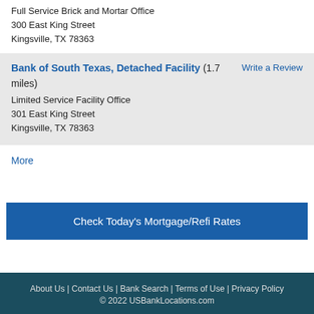Full Service Brick and Mortar Office
300 East King Street
Kingsville, TX 78363
Bank of South Texas, Detached Facility (1.7 miles)
Limited Service Facility Office
301 East King Street
Kingsville, TX 78363
Write a Review
More
Check Today's Mortgage/Refi Rates
About Us | Contact Us | Bank Search | Terms of Use | Privacy Policy
© 2022 USBankLocations.com